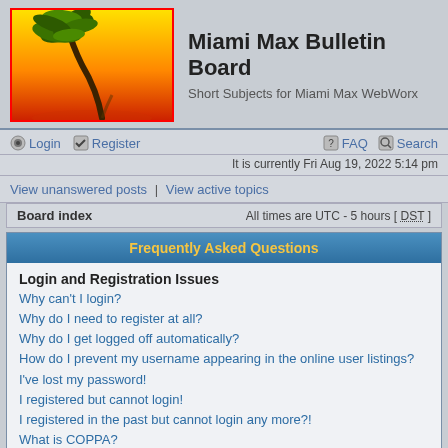[Figure (illustration): Miami Max Bulletin Board logo: a cartoon palm tree bending over a yellow-to-orange-red gradient sunset background, with a red border frame]
Miami Max Bulletin Board
Short Subjects for Miami Max WebWorx
Login   Register   FAQ   Search
It is currently Fri Aug 19, 2022 5:14 pm
View unanswered posts | View active topics
Board index    All times are UTC - 5 hours [ DST ]
Frequently Asked Questions
Login and Registration Issues
Why can't I login?
Why do I need to register at all?
Why do I get logged off automatically?
How do I prevent my username appearing in the online user listings?
I've lost my password!
I registered but cannot login!
I registered in the past but cannot login any more?!
What is COPPA?
Why can't I register?
What does the "Delete all board cookies" do?
User Preferences and settings
How do I change my settings?